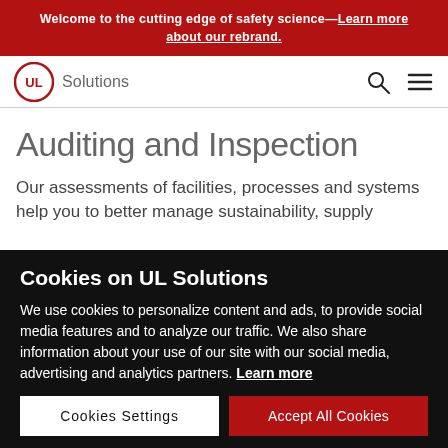Welcome to the cutting edge of safety science—Learn more about our rebrand.
[Figure (logo): UL Solutions logo with circular UL mark and 'Solutions' text]
Auditing and Inspection
Our assessments of facilities, processes and systems help you to better manage sustainability, supply
Cookies on UL Solutions
We use cookies to personalize content and ads, to provide social media features and to analyze our traffic. We also share information about your use of our site with our social media, advertising and analytics partners. Learn more